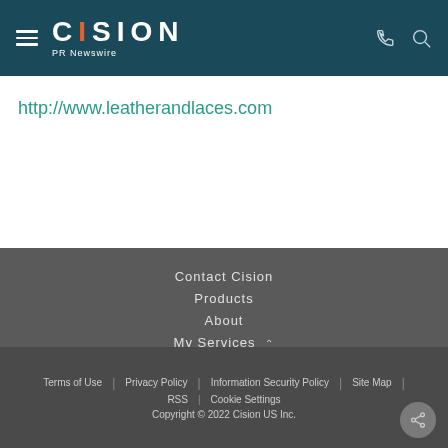[Figure (logo): Cision PR Newswire logo in white on dark teal header with hamburger menu, phone icon, and search icon]
http://www.leatherandlaces.com
Contact Cision
Products
About
My Services
Cision Distribution Helpline
888-776-0942
Terms of Use | Privacy Policy | Information Security Policy | Site Map | RSS | Cookie Settings
Copyright © 2022 Cision US Inc.